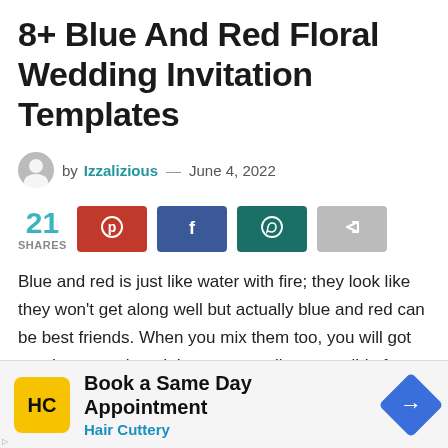8+ Blue And Red Floral Wedding Invitation Templates
by Izzalizious — June 4, 2022
21 SHARES
Blue and red is just like water with fire; they look like they won't get along well but actually blue and red can be best friends. When you mix them too, you will got purple as result and they were really compatible for each other. Red has its own charm that is passionate and blue has it charm
[Figure (screenshot): Advertisement banner: Book a Same Day Appointment - Hair Cuttery with logo and navigation arrow icon]